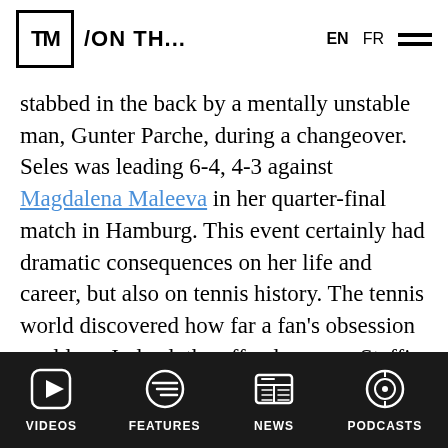TM /ON TH... EN FR
stabbed in the back by a mentally unstable man, Gunter Parche, during a changeover. Seles was leading 6-4, 4-3 against Magdalena Maleeva in her quarter-final match in Hamburg. This event certainly had dramatic consequences on her life and career, but also on tennis history. The tennis world discovered how far a fan's obsession could go. Indeed, the offender was a Steffi Graf fan who wanted to remove Seles from competition so his favourite player could be world No 1 again. Through this single act, the 38-year old factory worker broke
VIDEOS  FEATURES  NEWS  PODCASTS